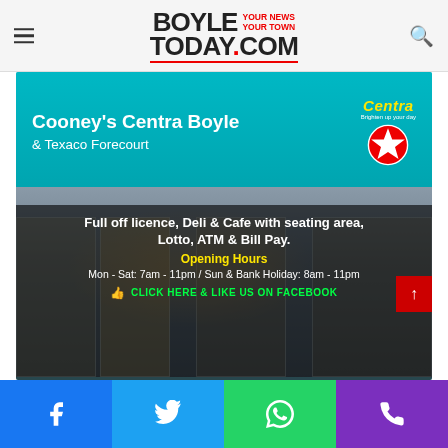BoyleToday.com – Your News Your Town
[Figure (photo): Advertisement for Cooney's Centra Boyle & Texaco Forecourt. Shows storefront photo with teal awning. Text: 'Cooney's Centra Boyle & Texaco Forecourt'. Full off licence, Deli & Cafe with seating area, Lotto, ATM & Bill Pay. Opening Hours Mon - Sat: 7am - 11pm / Sun & Bank Holiday: 8am - 11pm. CLICK HERE & LIKE US ON FACEBOOK.]
Facebook | Twitter | WhatsApp | Phone